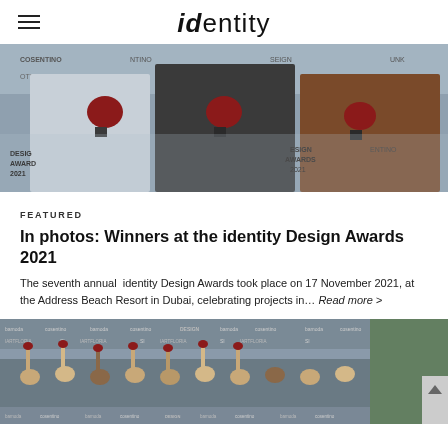identity
[Figure (photo): Three people holding award trophies with red roses at the identity Design Awards 2021 event, standing in front of a branded backdrop with logos including DESIGN AWARDS 2021.]
FEATURED
In photos: Winners at the identity Design Awards 2021
The seventh annual  identity Design Awards took place on 17 November 2021, at the Address Beach Resort in Dubai, celebrating projects in… Read more >
[Figure (photo): Group photo at the identity Design Awards 2021 event showing many people raising their hands with trophies in front of a branded step-and-repeat backdrop with logos.]